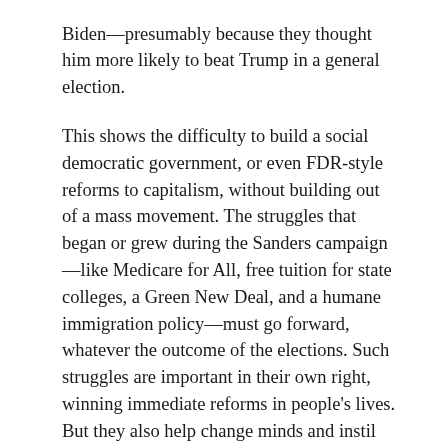Biden—presumably because they thought him more likely to beat Trump in a general election.

This shows the difficulty to build a social democratic government, or even FDR-style reforms to capitalism, without building out of a mass movement. The struggles that began or grew during the Sanders campaign—like Medicare for All, free tuition for state colleges, a Green New Deal, and a humane immigration policy—must go forward, whatever the outcome of the elections. Such struggles are important in their own right, winning immediate reforms in people's lives. But they also help change minds and instil the political confidence that could carry a successful socialist electoral strategy. In fact, these struggles are now more important than ever, as the deaths from COVID-19 and effects of the necessary economic shutdown reveal the brutality of a system that has been so